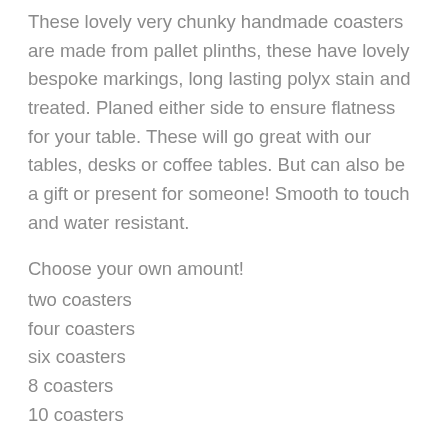These lovely very chunky handmade coasters are made from pallet plinths, these have lovely bespoke markings, long lasting polyx stain and treated. Planed either side to ensure flatness for your table. These will go great with our tables, desks or coffee tables. But can also be a gift or present for someone! Smooth to touch and water resistant.
Choose your own amount!
two coasters
four coasters
six coasters
8 coasters
10 coasters
Cheaper price for higher quantities.
Made to order and may differ from picture depending how the